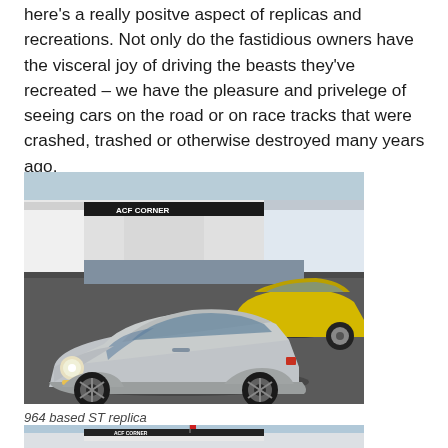here's a really positve aspect of replicas and recreations. Not only do the fastidious owners have the visceral joy of driving the beasts they've recreated – we have the pleasure and privelege of seeing cars on the road or on race tracks that were crashed, trashed or otherwise destroyed many years ago.
[Figure (photo): Outdoor car meet at ACF Corner dealership. A silver Porsche 911 (964-based ST replica) is in the foreground, with a yellow Porsche 911 beside it, and more classic cars and people in the background.]
964 based ST replica
[Figure (photo): Partial view of another outdoor car meet at a similar venue, showing the tops of cars and a building with ACF signage in the background, bright sky.]